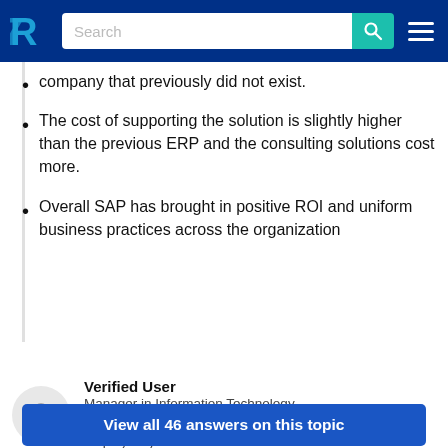TrustRadius - Search
company that previously did not exist.
The cost of supporting the solution is slightly higher than the previous ERP and the consulting solutions cost more.
Overall SAP has brought in positive ROI and uniform business practices across the organization
Read full review
Verified User
Manager in Information Technology (Food Production Company, 1001-5000 employees)
View all 46 answers on this topic